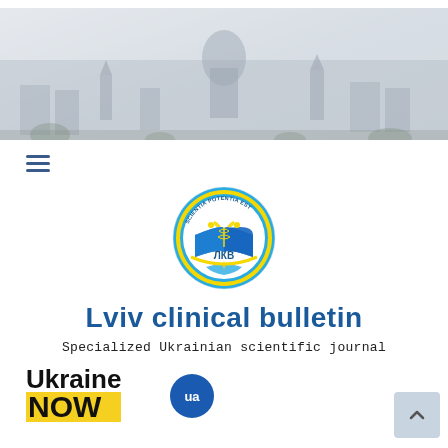[Figure (photo): Aerial panoramic photo of Lviv city center, shown in muted/faded colors with church domes and historic buildings visible]
[Figure (logo): Round logo of Lviv Clinical Bulletin journal - blue and yellow circle with medical caduceus symbol, open book, text 'SCIENTIA POTENTIA EST' and 'ЛКВ', with a hand holding symbol at bottom]
Lviv clinical bulletin
Specialized Ukrainian scientific journal
[Figure (logo): Ukraine NOW ua branding logo - black bold text 'Ukraine' and 'NOW' on yellow background, with blue circular 'ua' badge]